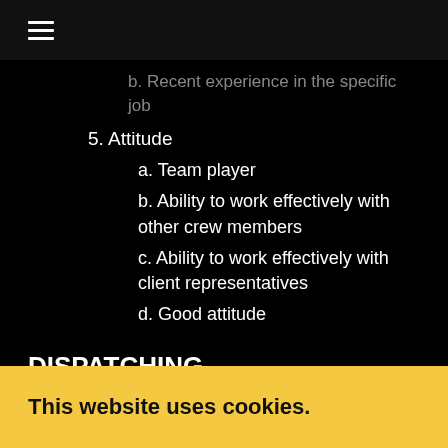≡ (navigation menu icon)
b. Recent experience in the specific job
5. Attitude
a. Team player
b. Ability to work effectively with other crew members
c. Ability to work effectively with client representatives
d. Good attitude
DISPATCHING
1. Do not call the call steward.
2. You will be called as your qualifications and your
This website uses cookies.